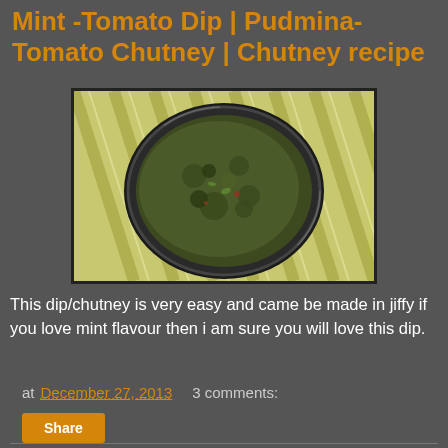Mint -Tomato Dip | Pudmina-Tomato Chutney | Chutney recipe
[Figure (photo): A metal bowl filled with dark green mint-tomato chutney placed on a yellow striped cloth/textile background]
This dip/chutney is very easy and came be made in jiffy if you love mint flavour then i am sure you will love this dip.
at December 27, 2013   3 comments:
Share